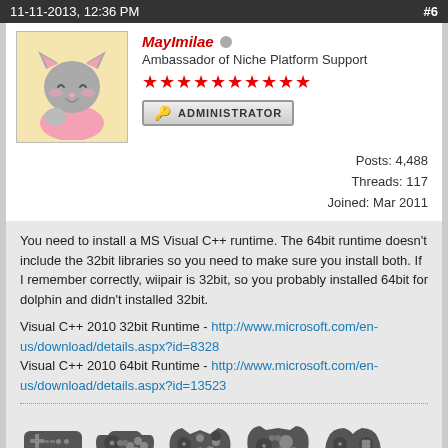11-11-2013, 12:36 PM  #6
MayImilae
Ambassador of Niche Platform Support
★★★★★★★★★★
ADMINISTRATOR
Posts: 4,488
Threads: 117
Joined: Mar 2011
You need to install a MS Visual C++ runtime. The 64bit runtime doesn't include the 32bit libraries so you need to make sure you install both. If I remember correctly, wiipair is 32bit, so you probably installed 64bit for dolphin and didn't installed 32bit.

Visual C++ 2010 32bit Runtime - http://www.microsoft.com/en-us/download/details.aspx?id=8328
Visual C++ 2010 64bit Runtime - http://www.microsoft.com/en-us/download/details.aspx?id=13523
[Figure (illustration): Row of 5 controller icons: NES controller, SNES controller, N64 controller, GameCube controller, Wii Pro controller]
Windows 10 x64 | Core i9-9900k | NVIDIA GeForce RTX 3090 EVGA FTW3 Ultra| 32GB DDR4-3000 | Asus Xonar Essence STX on